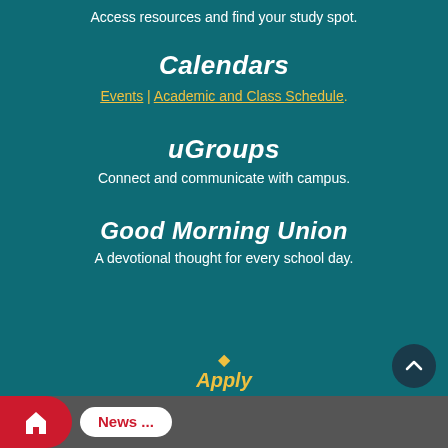Access resources and find your study spot.
Calendars
Events | Academic and Class Schedule.
uGroups
Connect and communicate with campus.
Good Morning Union
A devotional thought for every school day.
Apply
News ...